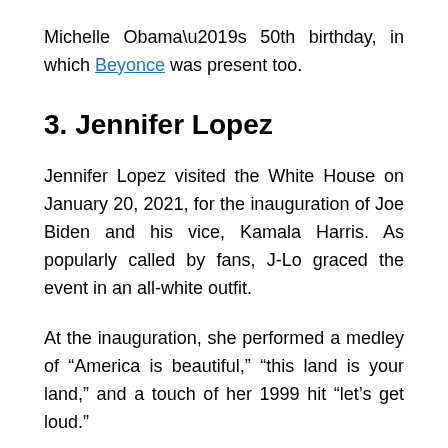Michelle Obama's 50th birthday, in which Beyonce was present too.
3. Jennifer Lopez
Jennifer Lopez visited the White House on January 20, 2021, for the inauguration of Joe Biden and his vice, Kamala Harris. As popularly called by fans, J-Lo graced the event in an all-white outfit.
At the inauguration, she performed a medley of “America is beautiful,” “this land is your land,” and a touch of her 1999 hit “let’s get loud.”